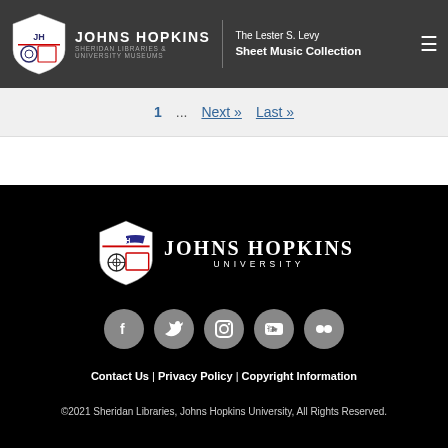Johns Hopkins Sheridan Libraries & University Museums | The Lester S. Levy Sheet Music Collection
1 ... Next >> Last »
[Figure (logo): Johns Hopkins University white logo with shield on black background]
[Figure (infographic): Social media icons: Facebook, Twitter, Instagram, YouTube, Flickr]
Contact Us | Privacy Policy | Copyright Information
©2021 Sheridan Libraries, Johns Hopkins University, All Rights Reserved.